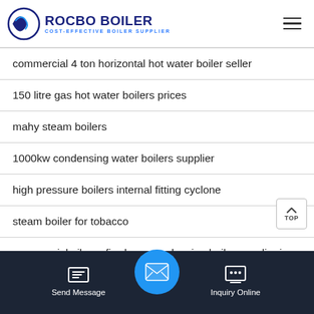ROCBO BOILER — COST-EFFECTIVE BOILER SUPPLIER
commercial 4 ton horizontal hot water boiler seller
150 litre gas hot water boilers prices
mahy steam boilers
1000kw condensing water boilers supplier
high pressure boilers internal fitting cyclone
steam boiler for tobacco
commercial oil gas fired gas condensing boiler supplier in
Send Message | Inquiry Online